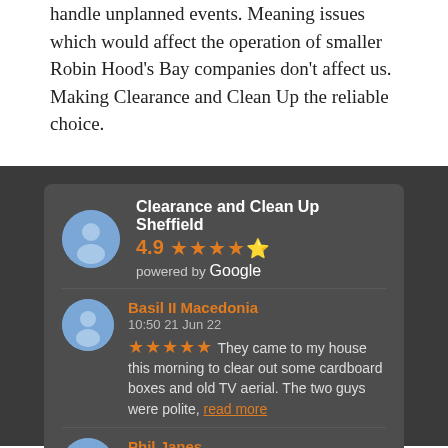handle unplanned events. Meaning issues which would affect the operation of smaller Robin Hood's Bay companies don't affect us. Making Clearance and Clean Up the reliable choice.
[Figure (screenshot): Google Reviews widget showing Clearance and Clean Up Sheffield rated 4.9 stars, with two user reviews: Basil II Macedonia (5 stars, 10:50 21 Jun 22) and Phil Janes (5 stars, 13:48 25 May 22)]
Clearance and Clean Up Sheffield 4.9 ★★★★½ powered by Google
Basil II Macedonia 10:50 21 Jun 22 ★★★★★ They came to my house this morning to clear out some cardboard boxes and old TV aerial. The two guys were polite, read more
Phil Janes 13:48 25 May 22 ★★★★★ Used this company yesterday to